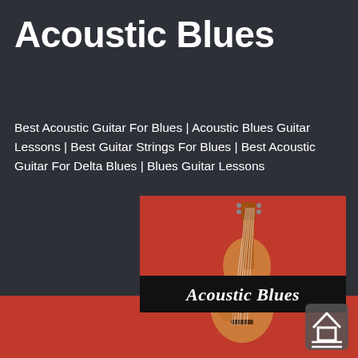Acoustic Blues
Best Acoustic Guitar For Blues | Acoustic Blues Guitar Lessons | Best Guitar Strings For Blues | Best Acoustic Guitar For Delta Blues | Blues Guitar Lessons
[Figure (illustration): Red background image with an acoustic guitar and 'Acoustic Blues' script text on a black banner]
[Figure (logo): Small document/book icon in the bottom right corner on red background]